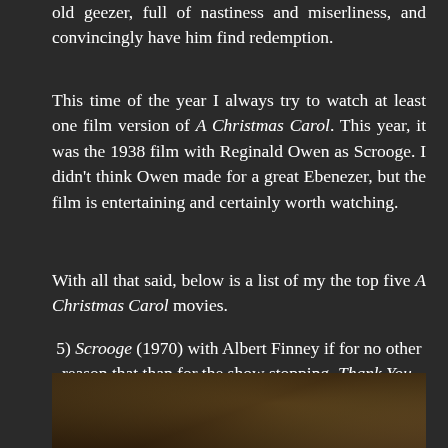old geezer, full of nastiness and miserliness, and convincingly have him find redemption.
This time of the year I always try to watch at least one film version of A Christmas Carol. This year, it was the 1938 film with Reginald Owen as Scrooge. I didn't think Owen made for a great Ebenezer, but the film is entertaining and certainly worth watching.
With all that said, below is a list of my the top five A Christmas Carol movies.
5) Scrooge (1970) with Albert Finney if for no other reason that than for the show stopping, Thank You, Very Much number.
[Figure (photo): A dark, dimly lit photo showing what appears to be a person in period costume, suggestive of a scene from Scrooge (1970)]